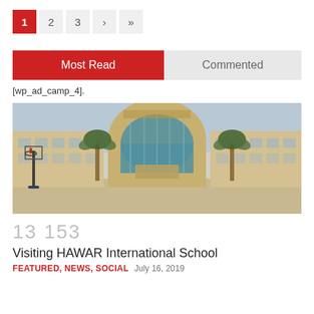1  2  3  ›  »
Most Read  Commented
[wp_ad_camp_4].
[Figure (photo): Exterior panoramic photo of HAWAR International School building — a wide beige/sandstone structure with a curved glass-fronted central section, flanked by palm trees, with a basketball hoop visible on the left and an open courtyard in the foreground.]
13 153
Visiting HAWAR International School
FEATURED, NEWS, SOCIAL   July 16, 2019